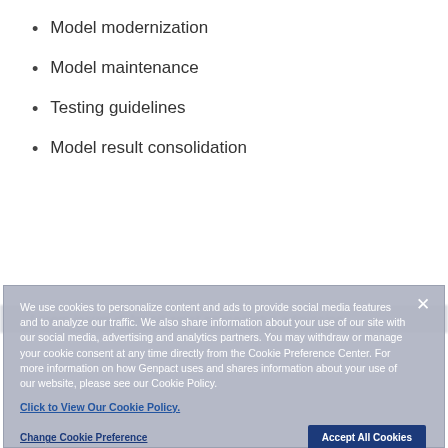Model modernization
Model maintenance
Testing guidelines
Model result consolidation
We use cookies to personalize content and ads to provide social media features and to analyze our traffic. We also share information about your use of our site with our social media, advertising and analytics partners. You may withdraw or manage your cookie consent at any time directly from the Cookie Preference Center. For more information on how Genpact uses and shares information about your use of our website, please see our Cookie Policy.
Click to View Our Cookie Policy.
Change Cookie Preference
Accept All Cookies